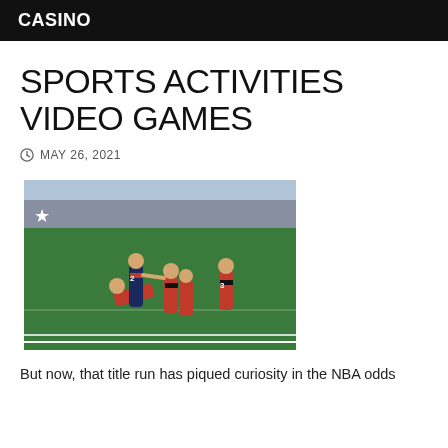CASINO
SPORTS ACTIVITIES VIDEO GAMES
MAY 26, 2021
[Figure (photo): Football game action shot showing players in red and black uniforms (Atlanta Falcons) and blue uniform on a green field. Players are engaged in a tackle/play near the end zone with stadium in background.]
But now, that title run has piqued curiosity in the NBA odds